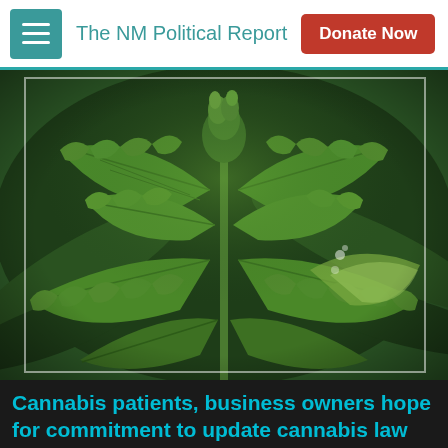The NM Political Report
[Figure (photo): Close-up photograph of a cannabis (marijuana) plant with green serrated leaves and buds, taken outdoors.]
Cannabis patients, business owners hope for commitment to update cannabis law from gubernatorial candidates